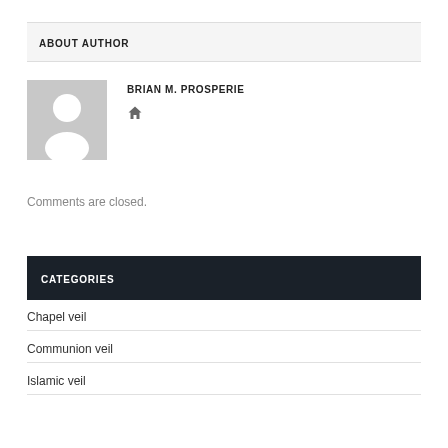ABOUT AUTHOR
[Figure (illustration): Default user avatar placeholder: gray square with white silhouette of a person (head and shoulders)]
BRIAN M. PROSPERIE
🏠
Comments are closed.
CATEGORIES
Chapel veil
Communion veil
Islamic veil